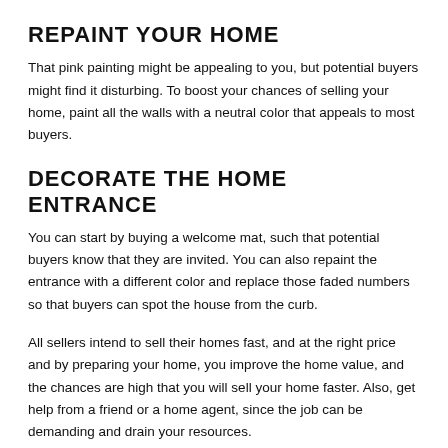REPAINT YOUR HOME
That pink painting might be appealing to you, but potential buyers might find it disturbing. To boost your chances of selling your home, paint all the walls with a neutral color that appeals to most buyers.
DECORATE THE HOME ENTRANCE
You can start by buying a welcome mat, such that potential buyers know that they are invited. You can also repaint the entrance with a different color and replace those faded numbers so that buyers can spot the house from the curb.
All sellers intend to sell their homes fast, and at the right price and by preparing your home, you improve the home value, and the chances are high that you will sell your home faster. Also, get help from a friend or a home agent, since the job can be demanding and drain your resources.